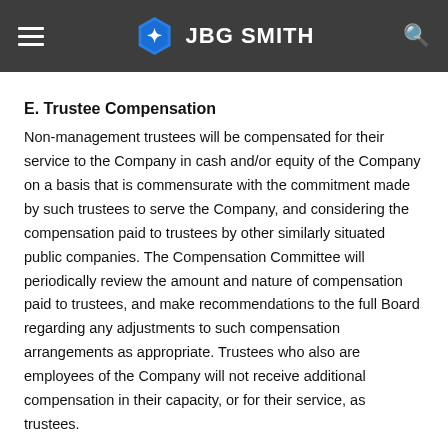JBG SMITH
E. Trustee Compensation
Non-management trustees will be compensated for their service to the Company in cash and/or equity of the Company on a basis that is commensurate with the commitment made by such trustees to serve the Company, and considering the compensation paid to trustees by other similarly situated public companies. The Compensation Committee will periodically review the amount and nature of compensation paid to trustees, and make recommendations to the full Board regarding any adjustments to such compensation arrangements as appropriate. Trustees who also are employees of the Company will not receive additional compensation in their capacity, or for their service, as trustees.
The Board recognizes that trustee time and energy are a scarce